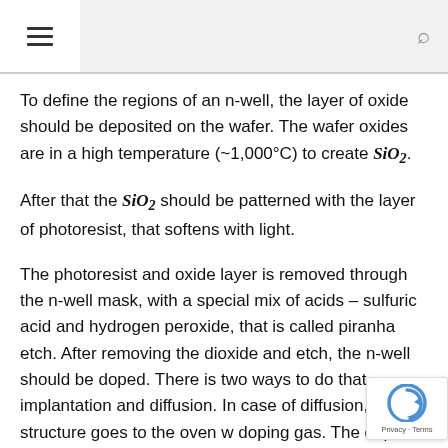≡ [hamburger menu] [search icon]
To define the regions of an n-well, the layer of oxide should be deposited on the wafer. The wafer oxides are in a high temperature (~1,000°C) to create SiO₂.
After that the SiO₂ should be patterned with the layer of photoresist, that softens with light.
The photoresist and oxide layer is removed through the n-well mask, with a special mix of acids – sulfuric acid and hydrogen peroxide, that is called piranha etch. After removing the dioxide and etch, the n-well should be doped. There is two ways to do that – implantation and diffusion. In case of diffusion, the structure goes to the oven w doping gas. The dopant atoms diffuse the substrate. that the well can be slightly wider than the etched space